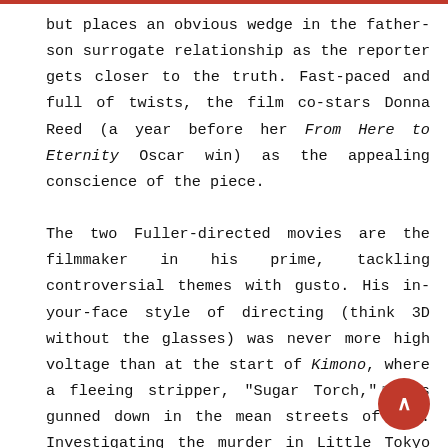but places an obvious wedge in the father-son surrogate relationship as the reporter gets closer to the truth. Fast-paced and full of twists, the film co-stars Donna Reed (a year before her From Here to Eternity Oscar win) as the appealing conscience of the piece.

The two Fuller-directed movies are the filmmaker in his prime, tackling controversial themes with gusto. His in-your-face style of directing (think 3D without the glasses) was never more high voltage than at the start of Kimono, where a fleeing stripper, "Sugar Torch,"□ is gunned down in the mean streets of L.A. Investigating the murder in Little Tokyo and along Skid Row are two cops, Charlie (Glenn Corbett) and Joe (James Shigeta), a Japanese. They share an apartment—Charlie calls Jo□ with affection, "meathead,"□ more than 10 years befo□